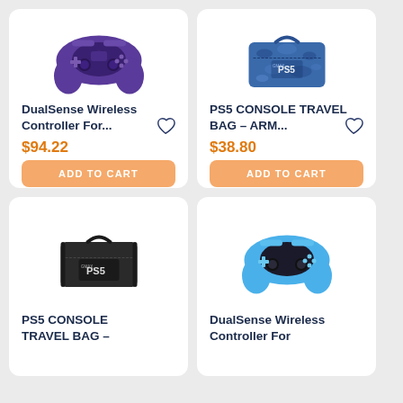[Figure (photo): Purple DualSense PS5 wireless controller]
DualSense Wireless Controller For...
$94.22
ADD TO CART
[Figure (photo): Blue camo PS5 console travel bag]
PS5 CONSOLE TRAVEL BAG – ARM...
$38.80
ADD TO CART
[Figure (photo): Black PS5 console travel bag]
PS5 CONSOLE TRAVEL BAG –
[Figure (photo): Light blue DualSense PS5 wireless controller]
DualSense Wireless Controller For